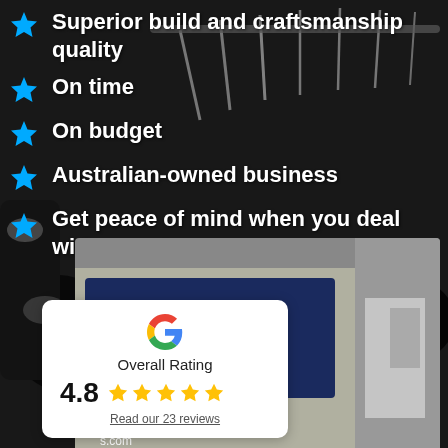Superior build and craftsmanship quality
On time
On budget
Australian-owned business
Get peace of mind when you deal with experts
[Figure (photo): Photo of sheds/dairy farm background with cows]
[Figure (photo): Photo of SHEDS Superior Industrials sign on a building/van with phone number 5437 7022 and website]
Overall Rating
4.8
Read our 23 reviews